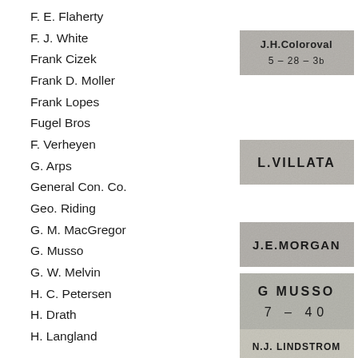F. E. Flaherty
F. J. White
[Figure (photo): Aged stamp reading 'J.H.Coloroval 5-28-3?']
Frank Cizek
Frank D. Moller
Frank Lopes
[Figure (photo): Aged stamp reading 'L.VILLATA']
Fugel Bros
F. Verheyen
[Figure (photo): Aged stamp reading 'J.E.MORGAN']
G. Arps
General Con. Co.
Geo. Riding
[Figure (photo): Aged stamp reading 'G MUSSO 7 – 40']
G. M. MacGregor
G. Musso
G. W. Melvin
[Figure (photo): Aged stamp reading 'N.J. LINDSTROM 1919']
H. C. Petersen
H. Drath
H. Langland